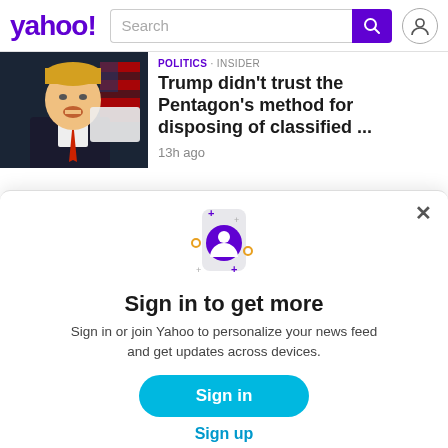yahoo! Search
[Figure (photo): Photo of Donald Trump at a podium, wearing a suit with a red tie, with an American flag visible in the background.]
Politics · INSIDER
Trump didn't trust the Pentagon's method for disposing of classified ...
13h ago
[Figure (illustration): Illustration of a phone with a purple user/account icon, surrounded by sparkle and circle decorations on a light gray phone shape.]
Sign in to get more
Sign in or join Yahoo to personalize your news feed and get updates across devices.
Sign in
Sign up